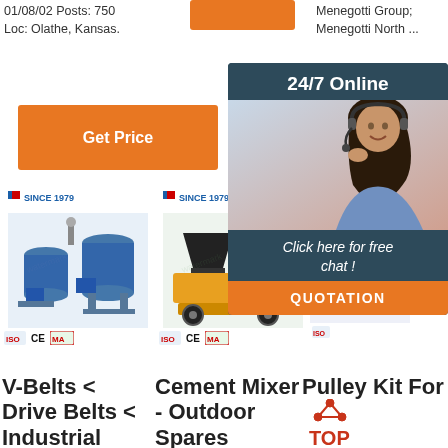01/08/02 Posts: 750
Loc: Olathe, Kansas.
Menegotti Group; Menegotti North ...
[Figure (screenshot): Orange 'Get Price' button, left column]
[Figure (screenshot): Partial orange 'G...' button, right column]
[Figure (photo): 24/7 Online customer service popup overlay with woman wearing headset, 'Click here for free chat!' text, and orange QUOTATION button]
[Figure (photo): Industrial blue cement mixer / grouting machine product image with SINCE 1979 brand logo and certification marks]
[Figure (photo): Yellow cement mixer pump machine product image with SINCE 1979 brand logo and certification marks]
[Figure (photo): Third product image partially visible behind popup]
V-Belts < Drive Belts < Industrial Applications
Cement Mixer - Outdoor Spares
Pulley Kit For Concrete Mixer -